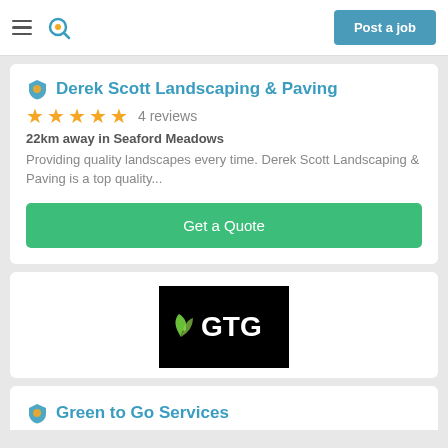Post a job
Derek Scott Landscaping & Paving
★★★★★  4 reviews
22km away in Seaford Meadows
Providing quality landscapes every time. Derek Scott Landscaping & Paving is a top quality...
Get a Quote
[Figure (logo): GTG logo - black background with white GTG text and green leaf icon]
Green to Go Services